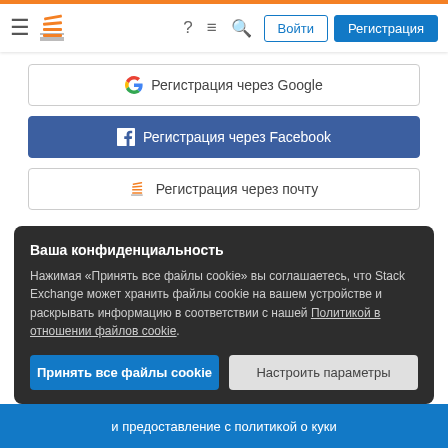[Figure (screenshot): Stack Overflow navigation bar with hamburger menu, logo, help/chat/search icons, login and signup buttons]
Регистрация через Google
Регистрация через Facebook
Регистрация через почту
Отправить без регистрации
Имя
Ваша конфиденциальность
Нажимая «Принять все файлы cookie» вы соглашаетесь, что Stack Exchange может хранить файлы cookie на вашем устройстве и раскрывать информацию в соответствии с нашей Политикой в отношении файлов cookie.
Принять все файлы cookie
Настроить параметры